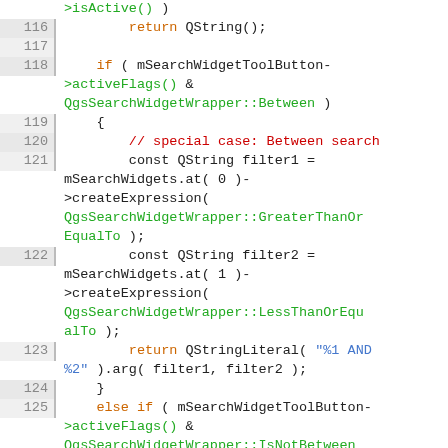Source code listing lines 116-129, C++ code with syntax highlighting showing Qt search widget filter expression logic